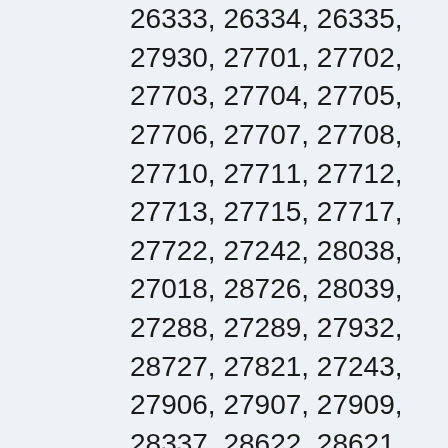26333, 26334, 26335, 27930, 27701, 27702, 27703, 27704, 27705, 27706, 27707, 27708, 27710, 27711, 27712, 27713, 27715, 27717, 27722, 27242, 28038, 27018, 28726, 28039, 27288, 27289, 27932, 28727, 27821, 27243, 27906, 27907, 27909, 28337, 28622, 28621, 28040, 28338, 27822, 27244, 28594, 27823, 27824, 28728, 28623, 28527, 28339, 27247,